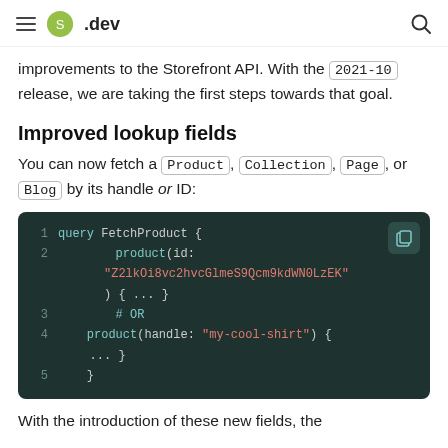.dev
improvements to the Storefront API. With the 2021-10 release, we are taking the first steps towards that goal.
Improved lookup fields
You can now fetch a Product, Collection, Page, or Blog by its handle or ID:
[Figure (screenshot): Code block showing GraphQL query FetchProduct with product lookup by id and by handle]
With the introduction of these new fields, the